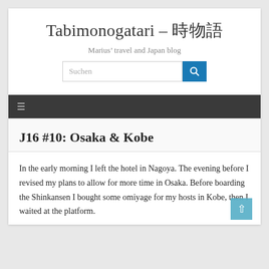Tabimonogatari – 旅物語
Marius' travel and Japan blog
J16 #10: Osaka & Kobe
In the early morning I left the hotel in Nagoya. The evening before I revised my plans to allow for more time in Osaka. Before boarding the Shinkansen I bought some omiyage for my hosts in Kobe, then I waited at the platform.